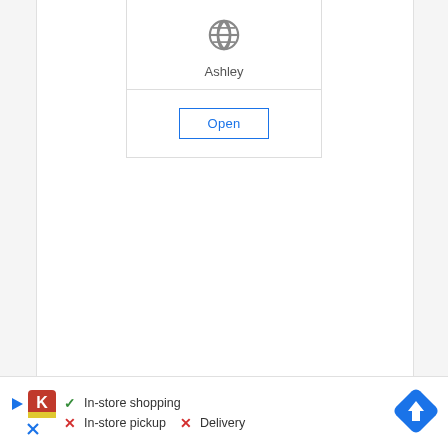[Figure (screenshot): A card UI element showing a globe icon above the text 'Ashley' with an 'Open' button below, rendered in a white panel.]
Ashley
Open
[Figure (infographic): Bottom bar with store icons (play button, Kroger logo, X mark), checkmark 'In-store shopping', X 'In-store pickup', X 'Delivery', and a blue navigation diamond arrow icon.]
In-store shopping
In-store pickup
Delivery